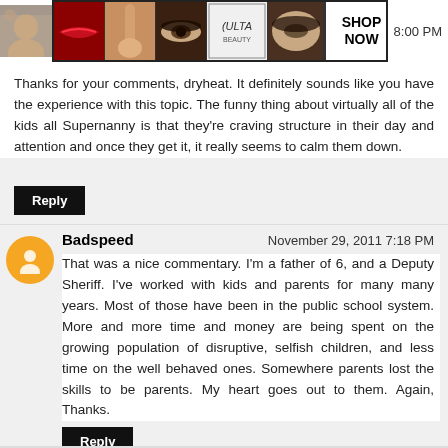[Figure (screenshot): Ulta beauty advertisement banner with makeup images and SHOP NOW button, showing time 8:00 PM]
Thanks for your comments, dryheat. It definitely sounds like you have the experience with this topic. The funny thing about virtually all of the kids all Supernanny is that they're craving structure in their day and attention and once they get it, it really seems to calm them down.
Reply
Badspeed    November 29, 2011 7:18 PM
That was a nice commentary. I'm a father of 6, and a Deputy Sheriff. I've worked with kids and parents for many many years. Most of those have been in the public school system. More and more time and money are being spent on the growing population of disruptive, selfish children, and less time on the well behaved ones. Somewhere parents lost the skills to be parents. My heart goes out to them. Again, Thanks.
Reply